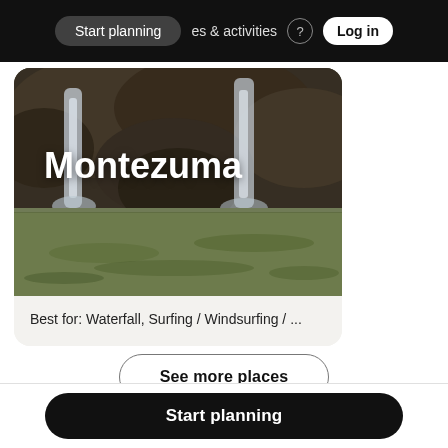Start planning   experiences & activities   ?   Log in
[Figure (photo): Waterfall scene at Montezuma, Costa Rica, with cascading water over rocky cliffs into a green pool below. Text overlay: Montezuma]
Best for: Waterfall, Surfing / Windsurfing / ...
See more places
Start planning